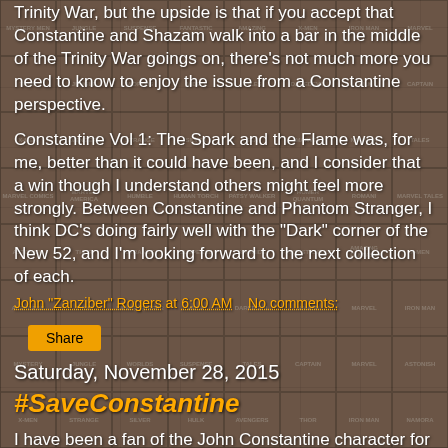Trinity War, but the upside is that if you accept that Constantine and Shazam walk into a bar in the middle of the Trinity War goings on, there's not much more you need to know to enjoy the issue from a Constantine perspective.
Constantine Vol 1: The Spark and the Flame was, for me, better than it could have been, and I consider that a win though I understand others might feel more strongly. Between Constantine and Phantom Stranger, I think DC's doing fairly well with the "Dark" corner of the New 52, and I'm looking forward to the next collection of each.
John "Zanziber" Rogers at 6:00 AM   No comments:
Share
Saturday, November 28, 2015
#SaveConstantine
I have been a fan of the John Constantine character for many years. I like that even though he was based in the